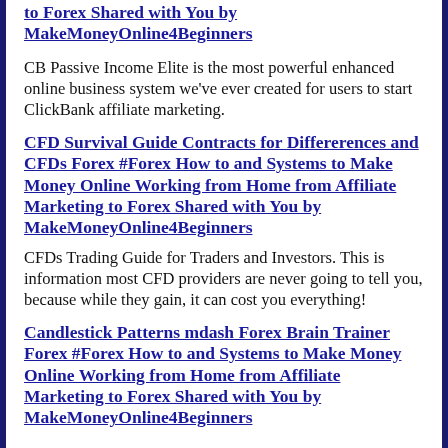to Forex Shared with You by MakeMoneyOnline4Beginners
CB Passive Income Elite is the most powerful enhanced online business system we've ever created for users to start ClickBank affiliate marketing.
CFD Survival Guide Contracts for Differerences and CFDs Forex #Forex How to and Systems to Make Money Online Working from Home from Affiliate Marketing to Forex Shared with You by MakeMoneyOnline4Beginners
CFDs Trading Guide for Traders and Investors. This is information most CFD providers are never going to tell you, because while they gain, it can cost you everything!
Candlestick Patterns mdash Forex Brain Trainer Forex #Forex How to and Systems to Make Money Online Working from Home from Affiliate Marketing to Forex Shared with You by MakeMoneyOnline4Beginners